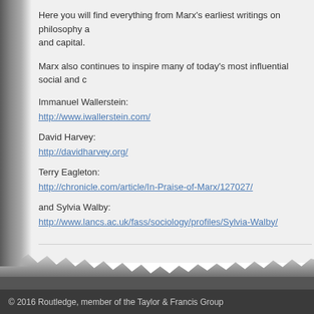Here you will find everything from Marx’s earliest writings on philosophy and capital.
Marx also continues to inspire many of today’s most influential social and c…
Immanuel Wallerstein:
http://www.iwallerstein.com/
David Harvey:
http://davidharvey.org/
Terry Eagleton:
http://chronicle.com/article/In-Praise-of-Marx/127027/
and Sylvia Walby:
http://www.lancs.ac.uk/fass/sociology/profiles/Sylvia-Walby/
© 2016 Routledge, member of the Taylor & Francis Group